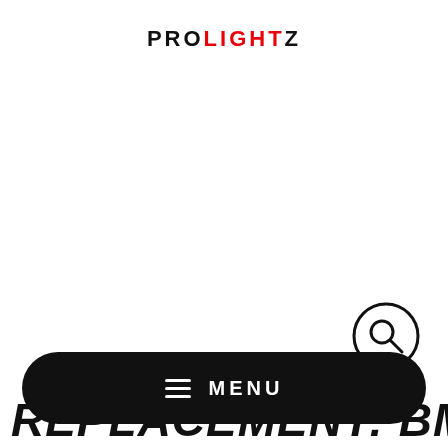[Figure (logo): PROLIGHTZ logo in black and red capital letters with tracking]
[Figure (other): Search icon — circle with magnifying glass]
[Figure (other): Black pill-shaped MENU button with hamburger icon and MENU text in white]
OF REPLACEMENT: BMW